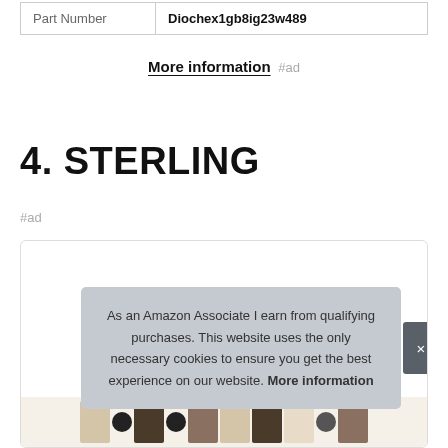| Part Number | Diochex1gb8ig23w489 |
| --- | --- |
More information #ad
4. STERLING
#ad
[Figure (screenshot): Product card box with image strip at the bottom showing wooden/dark colored items]
As an Amazon Associate I earn from qualifying purchases. This website uses the only necessary cookies to ensure you get the best experience on our website. More information